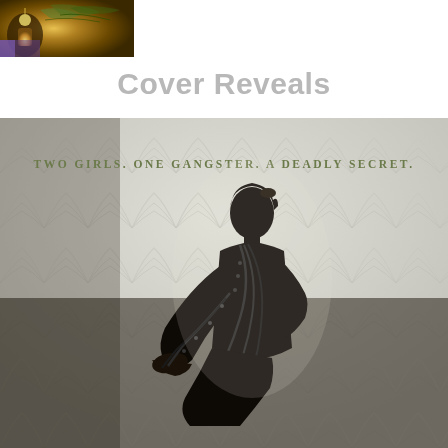[Figure (illustration): Small thumbnail book cover image in top-left corner showing a fantasy illustration with warm golden tones, feathers, and a glowing lantern]
Cover Reveals
[Figure (photo): Book cover photo showing silhouette of a 1920s-style woman with short hair and beaded necklace, kneeling and holding out her hand with pearls/beads draped over it. Text reads: 'Two girls. One gangster. A deadly secret.' Art deco wallpaper pattern in background. Light grey and dark tones.]